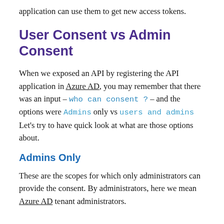application can use them to get new access tokens.
User Consent vs Admin Consent
When we exposed an API by registering the API application in Azure AD, you may remember that there was an input – who can consent ? – and the options were Admins only vs users and admins
Let's try to have quick look at what are those options about.
Admins Only
These are the scopes for which only administrators can provide the consent. By administrators, here we mean Azure AD tenant administrators.